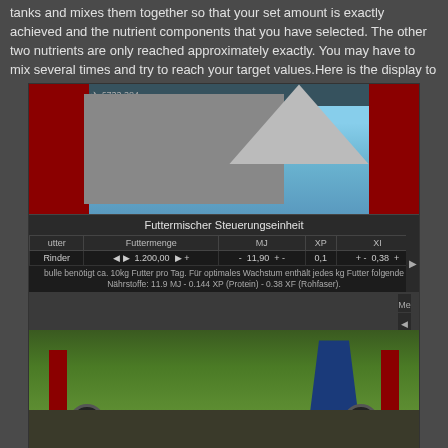tanks and mixes them together so that your set amount is exactly achieved and the nutrient components that you have selected. The other two nutrients are only reached approximately exactly. You may have to mix several times and try to reach your target values.Here is the display to adjust the mix:
[Figure (screenshot): Two-part screenshot of a farming simulator game showing a Futtermischer (feed mixer) control panel interface. The top image shows a farm building with red structural columns. The control panel displays 'Futtermischer Steuerungseinheit' with a table showing Futter, Futtermenge, MJ, XP, XI columns and a row for Rinder with values 1.200,00, 11.90, 0.1, 0.38. Info text reads: bulle benötigt ca. 10kg Futter pro Tag. Für optimales Wachstum enthält jedes kg Futter folgende Nährstoffe: 11.9 MJ - 0.144 XP (Protein) - 0.38 XF (Rohfaser). Bottom image shows the exterior lower portion of the feed mixer machine on green grass.]
At the top right of the display you can switch to the second page. There you can see the contents of all 7 storage silos with the associated nutrients. You can also see the dispensing tank there, which is the tank in which your mixed feed ends up and what you can load into the feed mixer or a trailer. The display updates the value about every second for about 300s. If the values do not update any more, then simply switch back and forth briefly in